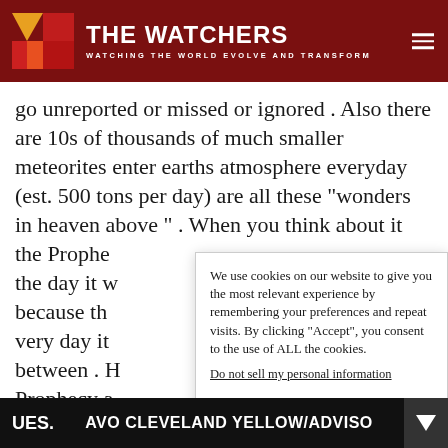THE WATCHERS — WATCHING THE WORLD EVOLVE AND TRANSFORM
go unreported or missed or ignored . Also there are 10s of thousands of much smaller meteorites enter earths atmosphere everyday (est. 500 tons per day) are all these “wonders in heaven above ” . When you think about it the Prophe the day it w because th very day it between . H Prophecy a are not . Th medieval u
We use cookies on our website to give you the most relevant experience by remembering your preferences and repeat visits. By clicking “Accept”, you consent to the use of ALL the cookies. Do not sell my personal information. Cookie settings Accept
UES.   AVO CLEVELAND YELLOW/ADVISO